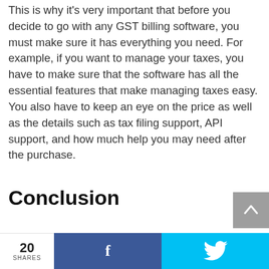This is why it's very important that before you decide to go with any GST billing software, you must make sure it has everything you need. For example, if you want to manage your taxes, you have to make sure that the software has all the essential features that make managing taxes easy. You also have to keep an eye on the price as well as the details such as tax filing support, API support, and how much help you may need after the purchase.
Conclusion
20 SHARES | Facebook | Twitter